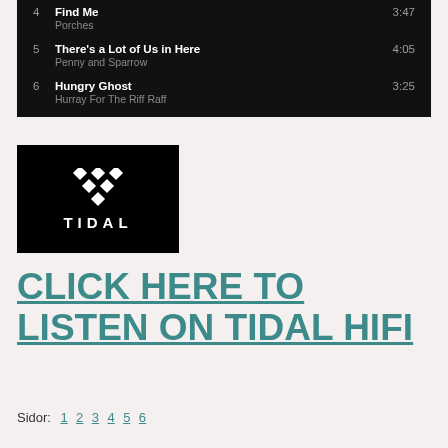| # | Title / Artist | Duration |
| --- | --- | --- |
| 4 | Find Me
Porches | 3:47 |
| 5 | There's a Lot of Us in Here
Penny and Sparrow | 4:05 |
| 6 | Hungry Ghost
Hurray For The Riff Raff | 3:25 |
[Figure (logo): TIDAL logo on black background with diamond shapes above the wordmark]
CLICK HERE TO LISTEN ON TIDAL HIFI
Sidor: 1 2 3 4 5 6